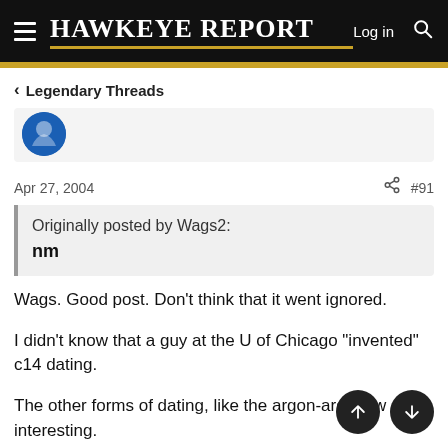HAWKEYE REPORT   Log in
< Legendary Threads
Apr 27, 2004   #91
Originally posted by Wags2:
nm
Wags. Good post. Don't think that it went ignored.
I didn't know that a guy at the U of Chicago "invented" c14 dating.
The other forms of dating, like the argon-argon, w interesting.